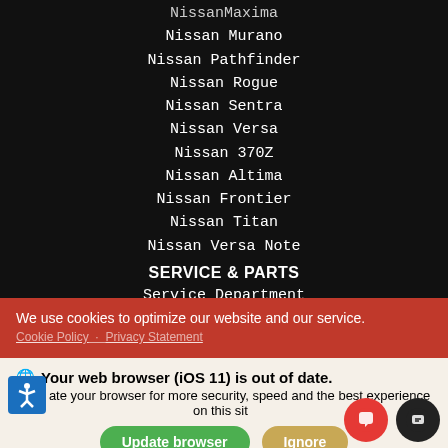Nissan Maxima
Nissan Murano
Nissan Pathfinder
Nissan Rogue
Nissan Sentra
Nissan Versa
Nissan 370Z
Nissan Altima
Nissan Frontier
Nissan Titan
Nissan Versa Note
SERVICE & PARTS
Service Department
Schedule Service
Service Specials
We use cookies to optimize our website and our service.
Cookie Policy   Privacy Statement
Your web browser (iOS 11) is out of date. Update your browser for more security, speed and the best experience on this site.
Update browser   Ignore